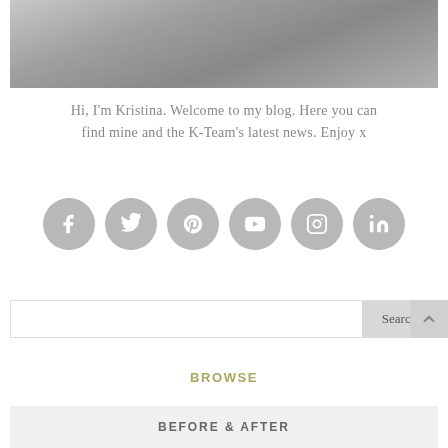[Figure (photo): Black and white photo showing person's torso/waist area, cropped at top and bottom]
Hi, I'm Kristina. Welcome to my blog. Here you can find mine and the K-Team's latest news. Enjoy x
[Figure (infographic): Row of six social media icon circles (grey): Facebook, Twitter, Pinterest, YouTube, Instagram, LinkedIn]
Search
BROWSE
BEFORE & AFTER